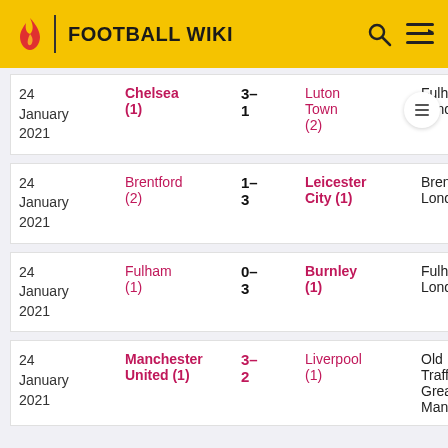FOOTBALL WIKI
| Date | Home | Score | Away | Venue |  |
| --- | --- | --- | --- | --- | --- |
| 24 January 2021 | Chelsea (1) | 3-1 | Luton Town (2) | Fulham, London | [Expand] |
| 24 January 2021 | Brentford (2) | 1-3 | Leicester City (1) | Brentford, London | [Exp |
| 24 January 2021 | Fulham (1) | 0-3 | Burnley (1) | Fulham, London | [Expand] |
| 24 January 2021 | Manchester United (1) | 3-2 | Liverpool (1) | Old Trafford, Greater Manchester |  |